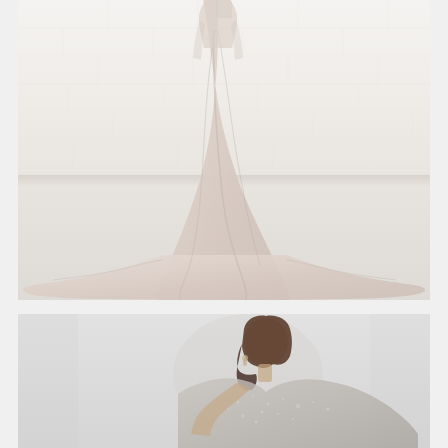[Figure (photo): Fashion photo of a woman in a long flowing blush/pale pink chiffon gown, photographed from behind against a white brick wall and white wooden floor. The dress has a long train spreading across the floor.]
[Figure (photo): Fashion photo of a woman with dark hair pulled back, wearing a silver/grey embellished dress, looking down, photographed against a light grey background.]